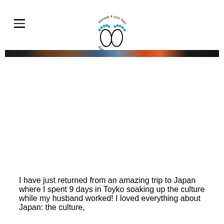Retreat 4 your feet Reflexology [logo]
[Figure (photo): Decorative banner strip showing a collage of travel photos from Japan, including dark, earth-toned, blue, and orange sections.]
I have just returned from an amazing trip to Japan where I spent 9 days in Toyko soaking up the culture while my husband worked! I loved everything about Japan: the culture,